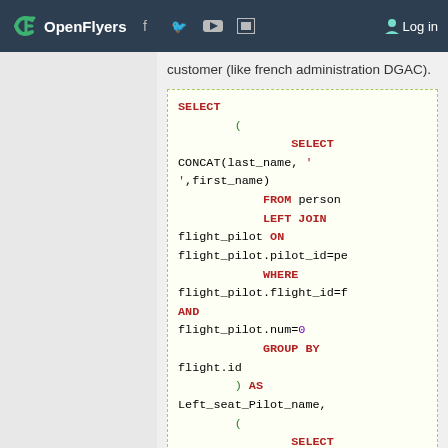OpenFlyers  Log in
customer (like french administration DGAC).
[Figure (screenshot): SQL code block showing a SELECT query with nested SELECT CONCAT(last_name, ' ', first_name) FROM person LEFT JOIN flight_pilot ON flight_pilot.pilot_id=pe... WHERE flight_pilot.flight_id=f... AND flight_pilot.num=0 GROUP BY flight.id ) AS Left_seat_Pilot_name, ( SELECT CONCAT(last_name, ' ',first_name) FROM...]